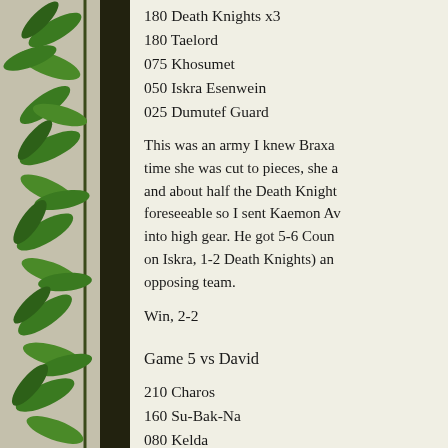180 Death Knights x3
180 Taelord
075 Khosumet
050 Iskra Esenwein
025 Dumutef Guard
This was an army I knew Braxa time she was cut to pieces, she a and about half the Death Knight foreseeable so I sent Kaemon Av into high gear. He got 5-6 Coun on Iskra, 1-2 Death Knights) an opposing team.
Win, 2-2
Game 5 vs David
210 Charos
160 Su-Bak-Na
080 Kelda
060 Marro Stingers
Really?! Charos again, and with